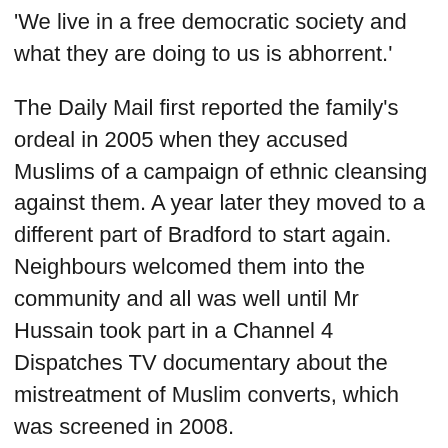'We live in a free democratic society and what they are doing to us is abhorrent.'
The Daily Mail first reported the family's ordeal in 2005 when they accused Muslims of a campaign of ethnic cleansing against them. A year later they moved to a different part of Bradford to start again. Neighbours welcomed them into the community and all was well until Mr Hussain took part in a Channel 4 Dispatches TV documentary about the mistreatment of Muslim converts, which was screened in 2008.
They were recognised by a large Muslim family of seven brothers and four sisters living on the same street and were immediately ostracised.